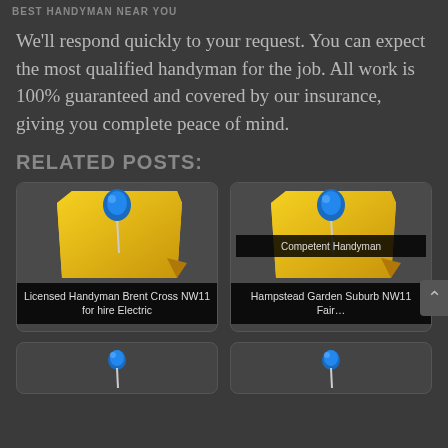BEST HANDYMAN NEAR YOU
We’ll respond quickly to your request. You can expect the most qualified handyman for the job. All work is 100% guaranteed and covered by our insurance, giving you complete peace of mind.
RELATED POSTS:
[Figure (illustration): Yellow sticky note pinned with a blue pushpin, card for 'Licensed Handyman Brent Cross NW11 for hire Electric']
[Figure (illustration): Yellow sticky note pinned with a blue pushpin, card for 'Competent Handyman Hampstead Garden Suburb NW11 Fair...']
[Figure (illustration): Yellow sticky note pinned with a blue pushpin, partial card at bottom]
[Figure (illustration): Yellow sticky note pinned with a blue pushpin, partial card at bottom]